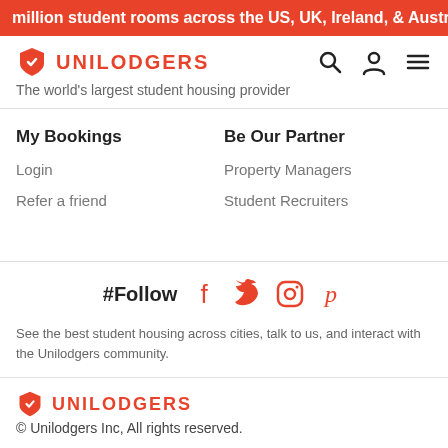million student rooms across the US, UK, Ireland, & Australia
[Figure (logo): Unilodgers logo with shield icon and navigation icons (search, profile, hamburger menu)]
The world's largest student housing provider
My Bookings
Login
Refer a friend
Be Our Partner
Property Managers
Student Recruiters
#Follow — social media icons (Facebook, Twitter, Instagram, Pinterest)
See the best student housing across cities, talk to us, and interact with the Unilodgers community.
[Figure (logo): Unilodgers footer logo with shield icon]
© Unilodgers Inc, All rights reserved.